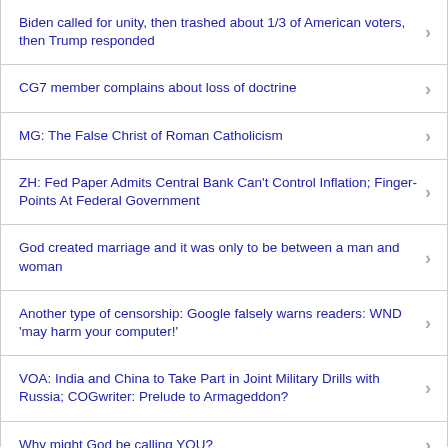Biden called for unity, then trashed about 1/3 of American voters, then Trump responded
CG7 member complains about loss of doctrine
MG: The False Christ of Roman Catholicism
ZH: Fed Paper Admits Central Bank Can't Control Inflation; Finger-Points At Federal Government
God created marriage and it was only to be between a man and woman
Another type of censorship: Google falsely warns readers: WND 'may harm your computer!'
VOA: India and China to Take Part in Joint Military Drills with Russia; COGwriter: Prelude to Armageddon?
Why might God be calling YOU?